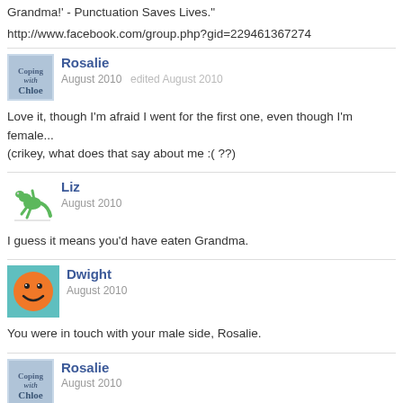Grandma!' - Punctuation Saves Lives."
http://www.facebook.com/group.php?gid=229461367274
Rosalie
August 2010   edited August 2010
Love it, though I'm afraid I went for the first one, even though I'm female... (crikey, what does that say about me :( ??)
Liz
August 2010
I guess it means you'd have eaten Grandma.
Dwight
August 2010
You were in touch with your male side, Rosalie.
Rosalie
August 2010